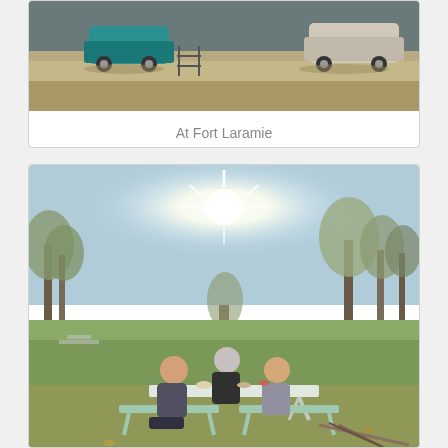[Figure (photo): Outdoor photo at Fort Laramie showing cars parked on a dry grassy area with a fence visible]
At Fort Laramie
[Figure (photo): Outdoor photo of three people sitting at a picnic table in a sunny park with trees in the background, bright sun flare visible in the sky]